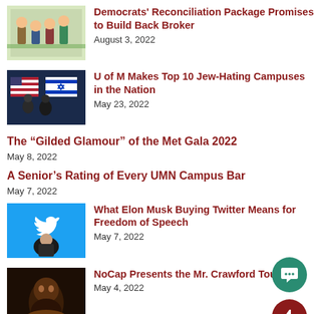[Figure (illustration): Cartoon/political cartoon thumbnail]
Democrats' Reconciliation Package Promises to Build Back Broker
August 3, 2022
[Figure (photo): Israeli and US flags photo thumbnail]
U of M Makes Top 10 Jew-Hating Campuses in the Nation
May 23, 2022
The “Gilded Glamour” of the Met Gala 2022
May 8, 2022
A Senior’s Rating of Every UMN Campus Bar
May 7, 2022
[Figure (screenshot): Twitter/Elon Musk blue bird logo thumbnail]
What Elon Musk Buying Twitter Means for Freedom of Speech
May 7, 2022
[Figure (photo): NoCap artist dark photo thumbnail]
NoCap Presents the Mr. Crawford Tour
May 4, 2022
[Figure (photo): The Northman movie thumbnail]
The Northman Review: